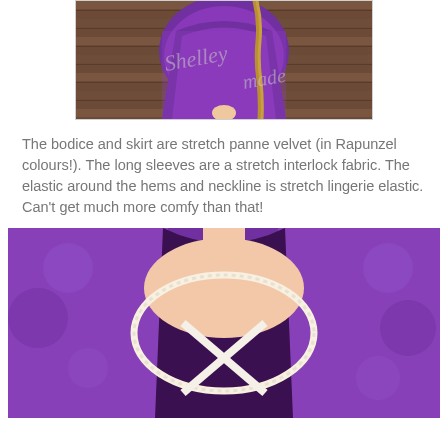[Figure (photo): A photo of a purple velvet dress with a long braid visible, worn by a child, standing on a wooden deck. Watermark reads 'Shelley made'.]
The bodice and skirt are stretch panne velvet (in Rapunzel colours!).  The long sleeves are a stretch interlock fabric.  The elastic around the hems and neckline is stretch lingerie elastic.  Can't get much more comfy than that!
[Figure (photo): Close-up photo of the neckline of a purple velvet dress with white lace trim and a white cross-lace pattern on the bodice front.]